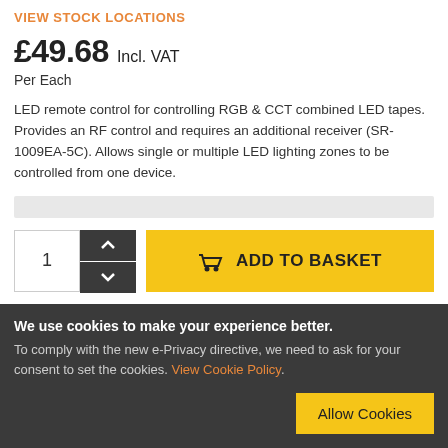VIEW STOCK LOCATIONS
£49.68 Incl. VAT
Per Each
LED remote control for controlling RGB & CCT combined LED tapes. Provides an RF control and requires an additional receiver (SR-1009EA-5C). Allows single or multiple LED lighting zones to be controlled from one device.
1  ADD TO BASKET
We use cookies to make your experience better. To comply with the new e-Privacy directive, we need to ask for your consent to set the cookies. View Cookie Policy. Allow Cookies